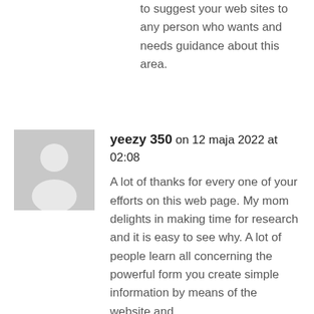to suggest your web sites to any person who wants and needs guidance about this area.
[Figure (illustration): Grey placeholder avatar icon showing a person silhouette]
yeezy 350 on 12 maja 2022 at 02:08
A lot of thanks for every one of your efforts on this web page. My mom delights in making time for research and it is easy to see why. A lot of people learn all concerning the powerful form you create simple information by means of the website and